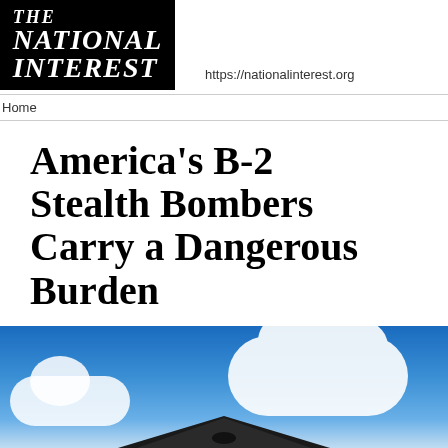[Figure (logo): The National Interest logo — white text on black background, serif italic font]
https://nationalinterest.org
Home
America's B-2 Stealth Bombers Carry a Dangerous Burden
[Figure (photo): B-2 stealth bomber flying against a blue sky with white clouds]